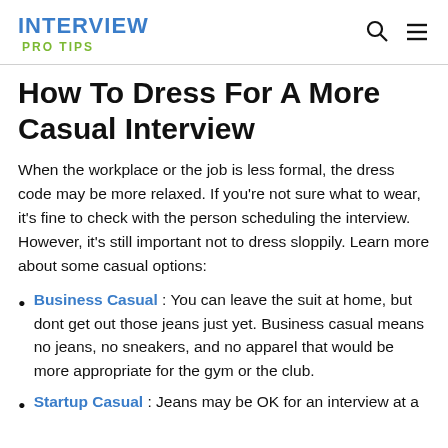INTERVIEW
PRO TIPS
How To Dress For A More Casual Interview
When the workplace or the job is less formal, the dress code may be more relaxed. If you're not sure what to wear, it's fine to check with the person scheduling the interview. However, it's still important not to dress sloppily. Learn more about some casual options:
Business Casual : You can leave the suit at home, but dont get out those jeans just yet. Business casual means no jeans, no sneakers, and no apparel that would be more appropriate for the gym or the club.
Startup Casual : Jeans may be OK for an interview at a